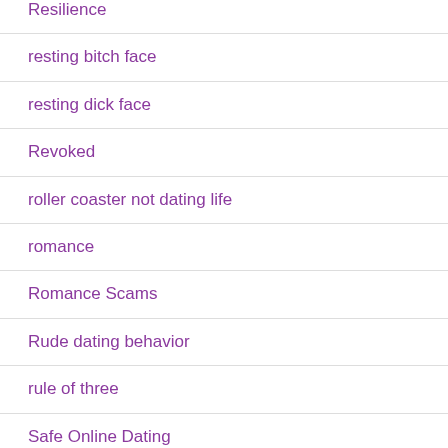Resilience
resting bitch face
resting dick face
Revoked
roller coaster not dating life
romance
Romance Scams
Rude dating behavior
rule of three
Safe Online Dating